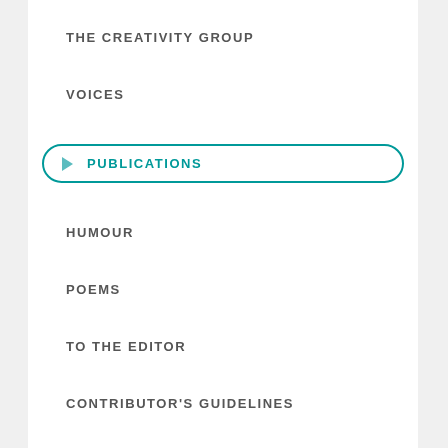THE CREATIVITY GROUP
VOICES
PUBLICATIONS
HUMOUR
POEMS
TO THE EDITOR
CONTRIBUTOR'S GUIDELINES
OUR PARTNERS